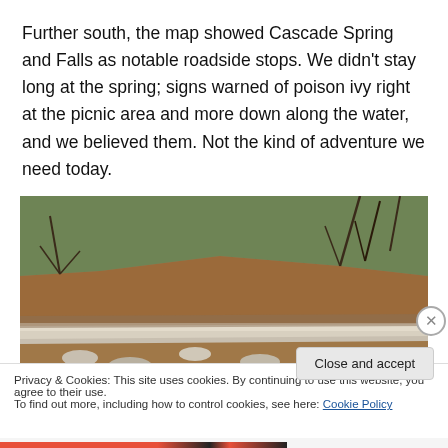Further south, the map showed Cascade Spring and Falls as notable roadside stops. We didn't stay long at the spring; signs warned of poison ivy right at the picnic area and more down along the water, and we believed them. Not the kind of adventure we need today.
[Figure (photo): Outdoor photo of an eroded hillside with reddish-brown dirt and scattered white rocks at the base, sparse dry grass and bare trees in the background]
Privacy & Cookies: This site uses cookies. By continuing to use this website, you agree to their use.
To find out more, including how to control cookies, see here: Cookie Policy